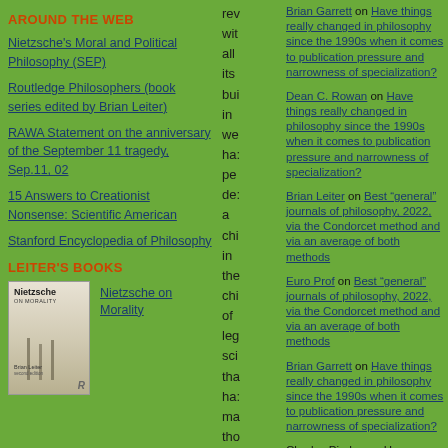AROUND THE WEB
Nietzsche's Moral and Political Philosophy (SEP)
Routledge Philosophers (book series edited by Brian Leiter)
RAWA Statement on the anniversary of the September 11 tragedy, Sep.11, 02
15 Answers to Creationist Nonsense: Scientific American
Stanford Encyclopedia of Philosophy
LEITER'S BOOKS
[Figure (photo): Book cover of Nietzsche on Morality by Brian Leiter]
Nietzsche on Morality
Brian Garrett on Have things really changed in philosophy since the 1990s when it comes to publication pressure and narrowness of specialization?
Dean C. Rowan on Have things really changed in philosophy since the 1990s when it comes to publication pressure and narrowness of specialization?
Brian Leiter on Best "general" journals of philosophy, 2022, via the Condorcet method and via an average of both methods
Euro Prof on Best "general" journals of philosophy, 2022, via the Condorcet method and via an average of both methods
Brian Garrett on Have things really changed in philosophy since the 1990s when it comes to publication pressure and narrowness of specialization?
Charles Pigden on Have things really...